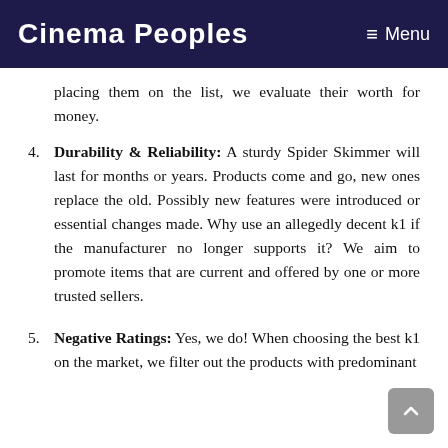Cinema Peoples  ≡ Menu
placing them on the list, we evaluate their worth for money.
4. Durability & Reliability: A sturdy Spider Skimmer will last for months or years. Products come and go, new ones replace the old. Possibly new features were introduced or essential changes made. Why use an allegedly decent k1 if the manufacturer no longer supports it? We aim to promote items that are current and offered by one or more trusted sellers.
5. Negative Ratings: Yes, we do! When choosing the best k1 on the market, we filter out the products with predominant...